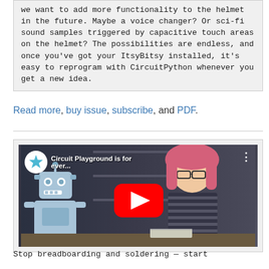we want to add more functionality to the helmet in the future. Maybe a voice changer? Or sci-fi sound samples triggered by capacitive touch areas on the helmet? The possibilities are endless, and once you've got your ItsyBitsy installed, it's easy to reprogram with CircuitPython whenever you get a new idea.
Read more, buy issue, subscribe, and PDF.
[Figure (screenshot): YouTube video thumbnail showing a robot mascot and a person with pink hair sitting at a desk in a workshop. The video title reads 'Circuit Playground is for ever...' with the Adafruit Circuit Playground star logo in the top left and a red YouTube play button in the center.]
Stop breadboarding and soldering — start